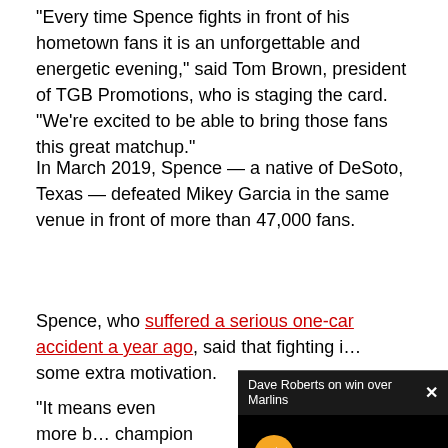“Every time Spence fights in front of his hometown fans it is an unforgettable and energetic evening,” said Tom Brown, president of TGB Promotions, who is staging the card. “We’re excited to be able to bring those fans this great matchup.”
In March 2019, Spence — a native of DeSoto, Texas — defeated Mikey Garcia in the same venue in front of more than 47,000 fans.
Spence, who suffered a serious one-car accident a year ago, said that fighting i... some extra motivation.
[Figure (screenshot): Video overlay popup showing 'Dave Roberts on win over Marlins' with a black video player area containing a muted (orange) button and a loading tilde symbol.]
“It means even more b... champion in Danny Gar... are looking out to see i...